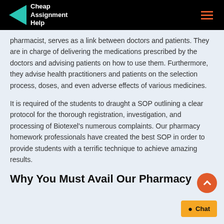Cheap Assignment Help
pharmacist, serves as a link between doctors and patients. They are in charge of delivering the medications prescribed by the doctors and advising patients on how to use them. Furthermore, they advise health practitioners and patients on the selection process, doses, and even adverse effects of various medicines.
It is required of the students to draught a SOP outlining a clear protocol for the thorough registration, investigation, and processing of Biotexel's numerous complaints. Our pharmacy homework professionals have created the best SOP in order to provide students with a terrific technique to achieve amazing results.
Why You Must Avail Our Pharmacy